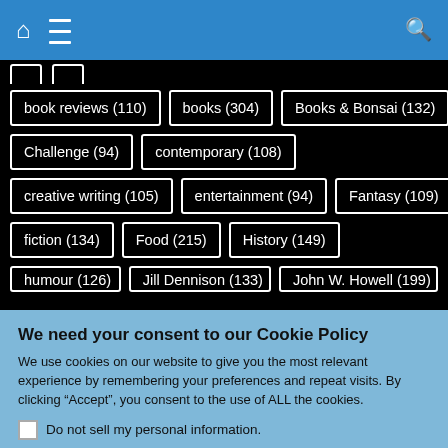Navigation bar with home icon, menu icon, and search icon
book reviews (110)
books (304)
Books & Bonsai (132)
Challenge (94)
contemporary (108)
creative writing (105)
entertainment (94)
Fantasy (109)
fiction (134)
Food (215)
History (149)
humour (126)
Jill Dennison (133)
John W. Howell (199)
We need your consent to our Cookie Policy
We use cookies on our website to give you the most relevant experience by remembering your preferences and repeat visits. By clicking "Accept", you consent to the use of ALL the cookies.
Do not sell my personal information.
Cookie Settings  Accept